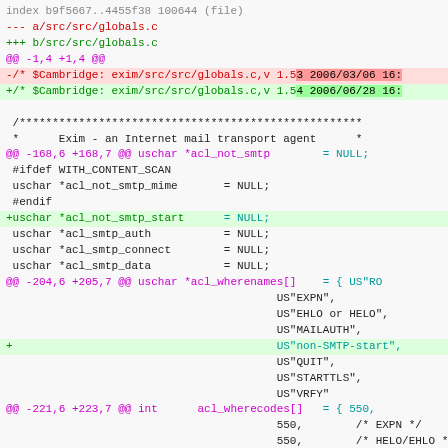[Figure (screenshot): Git diff output for src/src/globals.c showing code additions including acl_not_smtp_start and US"non-SMTP-start" entries, displayed with syntax highlighting in a monospace font on a light gray background.]